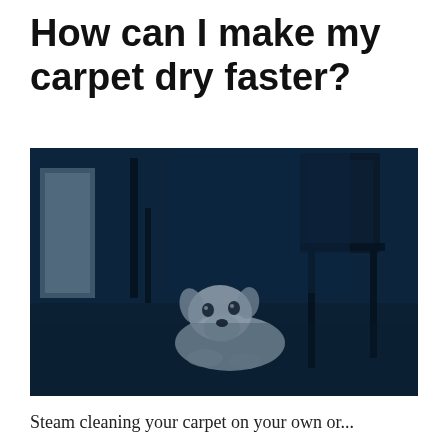How can I make my carpet dry faster?
[Figure (photo): A small white dog lying on a carpet in a dark blue-tinted room with furniture legs visible in the background. The entire photo has a dark navy/blue color cast.]
Steam cleaning your carpet on your own or...